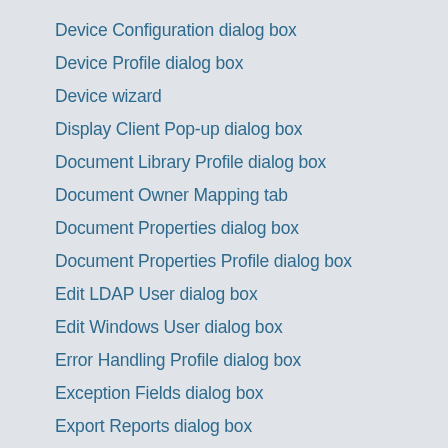Device Configuration dialog box
Device Profile dialog box
Device wizard
Display Client Pop-up dialog box
Document Library Profile dialog box
Document Owner Mapping tab
Document Properties dialog box
Document Properties Profile dialog box
Edit LDAP User dialog box
Edit Windows User dialog box
Error Handling Profile dialog box
Exception Fields dialog box
Export Reports dialog box
Failover Profile dialog box